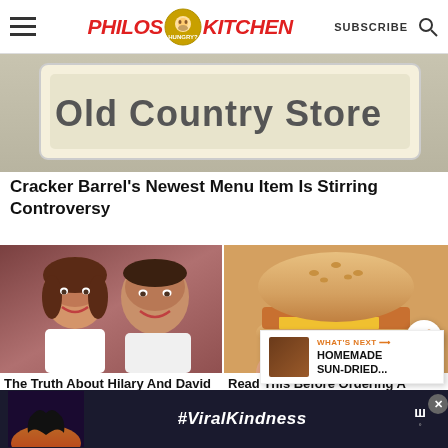Philos Kitchen - SUBSCRIBE
[Figure (photo): Cracker Barrel Old Country Store sign, partially visible text reading 'Old Country Store']
Cracker Barrel's Newest Menu Item Is Stirring Controversy
[Figure (photo): Portrait photo of a woman and a man smiling, Hilary and David from Love It Or List It]
[Figure (photo): Close-up photo of a McDonald's Filet-O-Fish sandwich]
The Truth About Hilary And David From Love It Or List It
Read This Before Ordering A McDonald's Filet-O-Fish Again
[Figure (infographic): Advertisement banner with hands forming a heart shape and text '#ViralKindness']